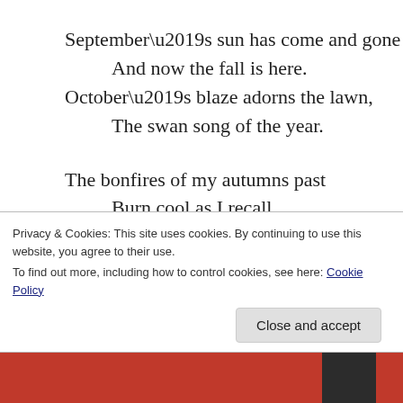September’s sun has come and gone
    And now the fall is here.
October’s blaze adorns the lawn,
    The swan song of the year.
The bonfires of my autumns past
    Burn cool as I recall
The hayride loves that failed to last
    Beyond the end of fall.
Out on the gridiron battlefield,
    Where so much toil was paid,
Privacy & Cookies: This site uses cookies. By continuing to use this website, you agree to their use.
To find out more, including how to control cookies, see here: Cookie Policy